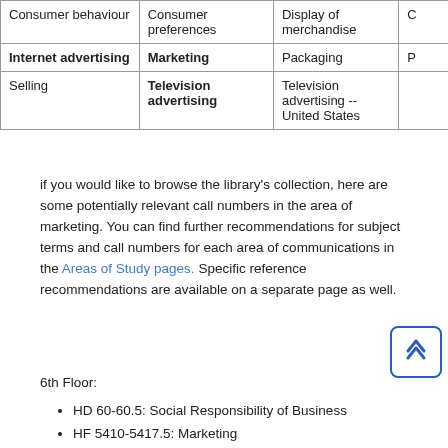| (col1) | (col2) | (col3) | (col4) |
| --- | --- | --- | --- |
| Consumer behaviour | Consumer preferences | Display of merchandise | C… |
| Internet advertising | Marketing | Packaging | P… |
| Selling | Television advertising | Television advertising -- United States |  |
if you would like to browse the library's collection, here are some potentially relevant call numbers in the area of marketing. You can find further recommendations for subject terms and call numbers for each area of communications in the Areas of Study pages. Specific reference recommendations are available on a separate page as well.
6th Floor:
HD 60-60.5: Social Responsibility of Business
HF 5410-5417.5: Marketing
HF 5801-6182: Advertising
KF 4770: Freedom of speech
7th Floor:
P 87-96: Mass Media (Communications)
PE 1-3729: English